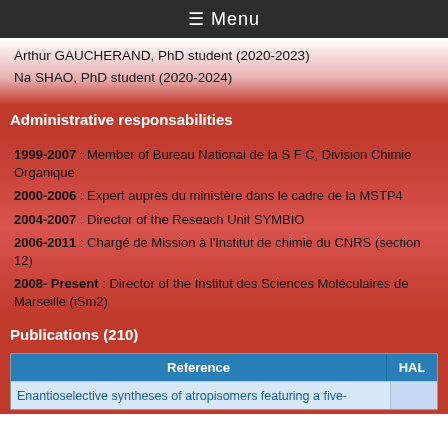☰ Menu
Arthur GAUCHERAND, PhD student (2020-2023)
Na SHAO, PhD student (2020-2024)
Administrative responsabilities
1999-2007 : Member of Bureau National de la S F C, Division Chimie Organique
2000-2006 : Expert auprès du ministère dans le cadre de la MSTP4
2004-2007 : Director of the Reseach Unit SYMBIO
2006-2011 : Chargé de Mission à l'Institut de chimie du CNRS (section 12)
2008- Present : Director of the Institut des Sciences Moléculaires de Marseille (iSm2)
Publications (210)
| Reference | HAL |
| --- | --- |
| Enantioselective syntheses of atropisomers featuring a five-membered… |  |